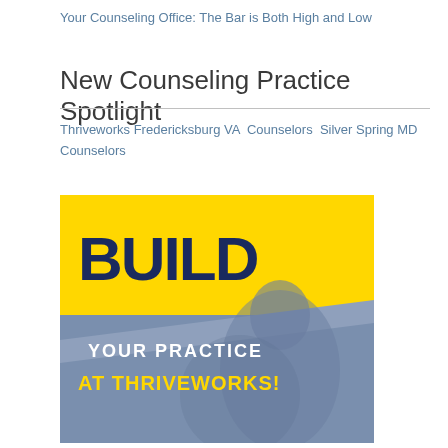Your Counseling Office: The Bar is Both High and Low
New Counseling Practice Spotlight
Thriveworks Fredericksburg VA Counselors Silver Spring MD Counselors
[Figure (illustration): Promotional graphic with yellow background and navy text reading 'BUILD YOUR PRACTICE AT THRIVEWORKS!' with a blue-toned photo of a person in the background.]